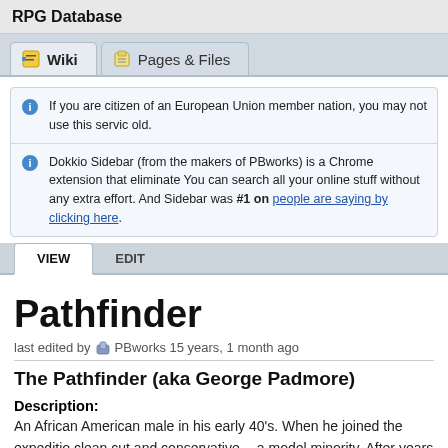RPG Database
Wiki | Pages & Files
If you are citizen of an European Union member nation, you may not use this service old.
Dokkio Sidebar (from the makers of PBworks) is a Chrome extension that eliminates You can search all your online stuff without any extra effort. And Sidebar was #1 on people are saying by clicking here.
Pathfinder
last edited by PBworks 15 years, 1 month ago
The Pathfinder (aka George Padmore)
Description:
An African American male in his early 40's. When he joined the expedition clean cut and conservative -- a model minority. After years of great adver